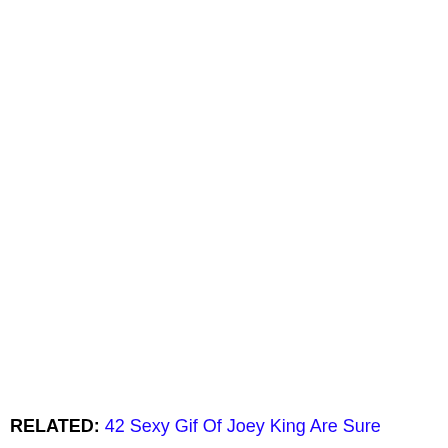RELATED: 42 Sexy Gif Of Joey King Are Sure